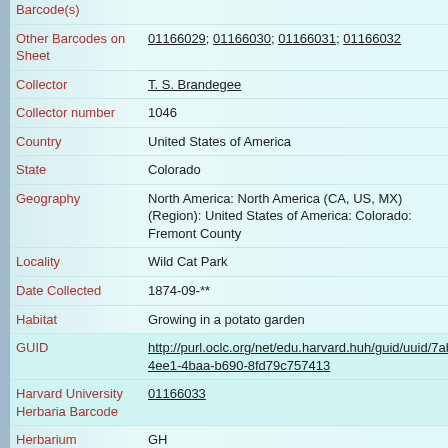| Field | Value |
| --- | --- |
| Barcode(s) |  |
| Other Barcodes on Sheet | 01166029; 01166030; 01166031; 01166032 |
| Collector | T. S. Brandegee |
| Collector number | 1046 |
| Country | United States of America |
| State | Colorado |
| Geography | North America: North America (CA, US, MX) (Region): United States of America: Colorado: Fremont County |
| Locality | Wild Cat Park |
| Date Collected | 1874-09-** |
| Habitat | Growing in a potato garden |
| GUID | http://purl.oclc.org/net/edu.harvard.huh/guid/uuid/7ab...4ee1-4baa-b690-8fd79c757413 |
| Harvard University Herbaria Barcode | 01166033 |
| Herbarium | GH |
| Family | Hydrophyllaceae |